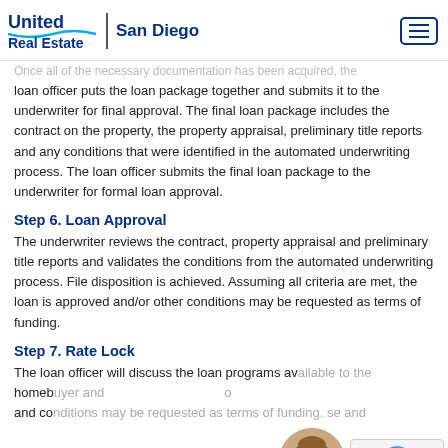United Real Estate | San Diego
Once all of the necessary documentation has been acquired, the loan officer puts the loan package together and submits it to the underwriter for final approval. The final loan package includes the contract on the property, the property appraisal, preliminary title reports and any conditions that were identified in the automated underwriting process. The loan officer submits the final loan package to the underwriter for formal loan approval.
Step 6. Loan Approval
The underwriter reviews the contract, property appraisal and preliminary title reports and validates the conditions from the automated underwriting process. File disposition is achieved. Assuming all criteria are met, the loan is approved and/or other conditions may be requested as terms of funding.
Step 7. Rate Lock
The loan officer will discuss the loan programs available to the homebuyer and co conditions may be requested as terms of funding. use and